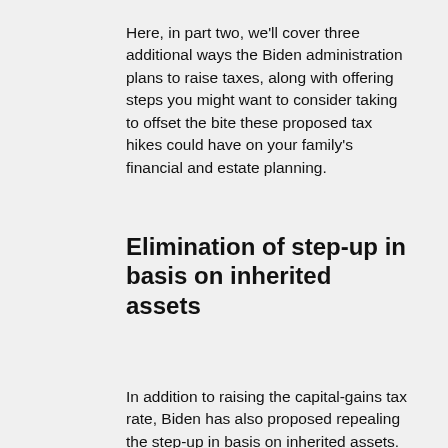Here, in part two, we'll cover three additional ways the Biden administration plans to raise taxes, along with offering steps you might want to consider taking to offset the bite these proposed tax hikes could have on your family's financial and estate planning.
Elimination of step-up in basis on inherited assets
In addition to raising the capital-gains tax rate, Biden has also proposed repealing the step-up in basis on inherited assets. Under the